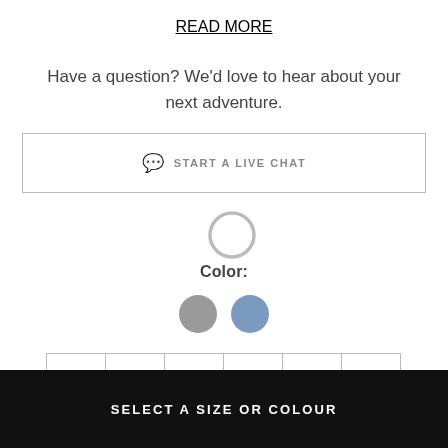READ MORE
Have a question? We'd love to hear about your next adventure.
START A LIVE CHAT
Color:
[Figure (other): Two color swatches: gray circle and blue-gray circle, with a selection ring above]
XS  S  M  L  XL  XXL
SELECT A SIZE OR COLOUR